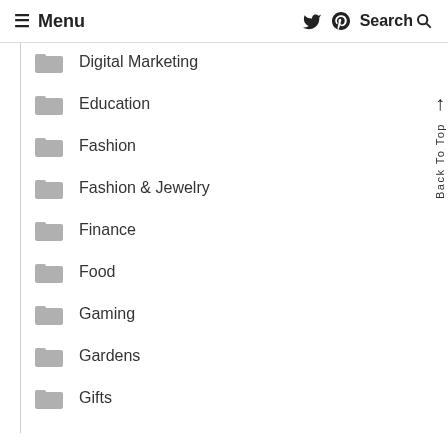≡ Menu  🐦 Pinterest Search 🔍
Digital Marketing
Education
Fashion
Fashion & Jewelry
Finance
Food
Gaming
Gardens
Gifts
Back To Top